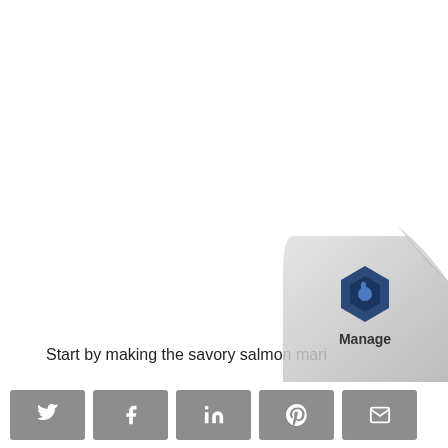Start by making the savory salmon mari…
[Figure (illustration): Page curl effect in the bottom-right corner with a hexagonal logo and the word 'Manage' below it]
Social share bar with Twitter, Facebook, LinkedIn, Pinterest, and Email icons